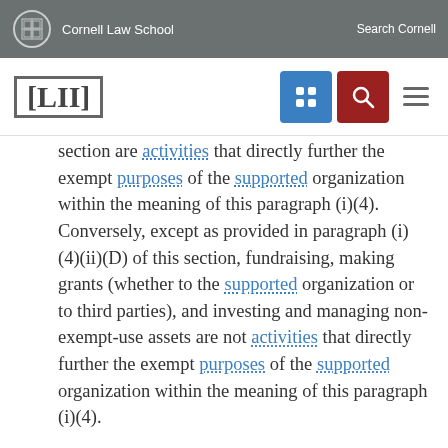Cornell Law School | Search Cornell
[LII]
section are activities that directly further the exempt purposes of the supported organization within the meaning of this paragraph (i)(4). Conversely, except as provided in paragraph (i)(4)(ii)(D) of this section, fundraising, making grants (whether to the supported organization or to third parties), and investing and managing non-exempt-use assets are not activities that directly further the exempt purposes of the supported organization within the meaning of this paragraph (i)(4).